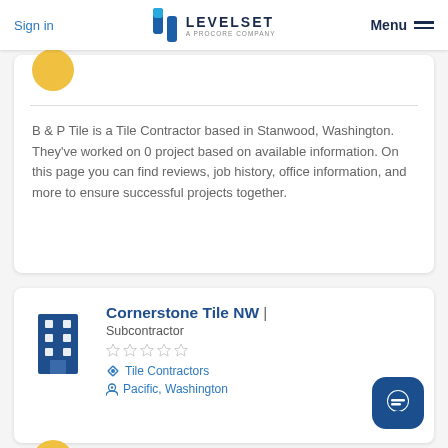Sign in | LEVELSET A PROCORE COMPANY | Menu
B & P Tile is a Tile Contractor based in Stanwood, Washington. They've worked on 0 project based on available information. On this page you can find reviews, job history, office information, and more to ensure successful projects together.
Cornerstone Tile NW | Subcontractor
Tile Contractors
Pacific, Washington
Payment Score